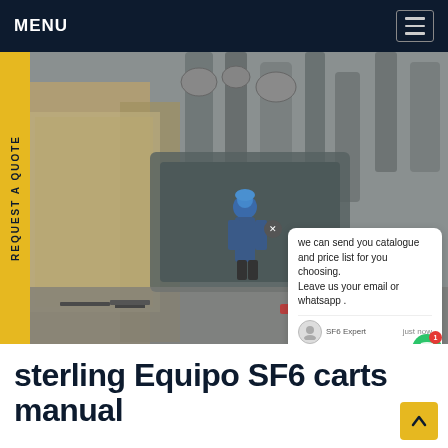MENU
[Figure (photo): Industrial maintenance scene showing a worker in blue coveralls and hard hat working on large industrial machinery/pipes. Chat overlay visible with message: 'we can send you catalogue and price list for you choosing. Leave us your email or whatsapp.' SF6 Expert chat interface shown. SF6China watermark in orange at bottom right.]
REQUEST A QUOTE
sterling Equipo SF6 carts manual